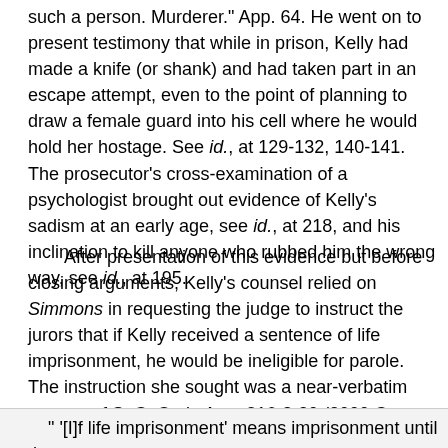such a person. Murderer." App. 64. He went on to present testimony that while in prison, Kelly had made a knife (or shank) and had taken part in an escape attempt, even to the point of planning to draw a female guard into his cell where he would hold her hostage. See id., at 129-132, 140-141. The prosecutor's cross-examination of a psychologist brought out evidence of Kelly's sadism at an early age, see id., at 218, and his inclination to kill anyone who rubbed him the wrong way, see id., at 195.
After presentation of this evidence but before closing arguments, Kelly's counsel relied on Simmons in requesting the judge to instruct the jurors that if Kelly received a sentence of life imprisonment, he would be ineligible for parole. The instruction she sought was a near-verbatim excerpt of S. C. Code Ann. §16-3-20 (2000 Cum. Supp.):
" '[I]f life imprisonment' means imprisonment until the